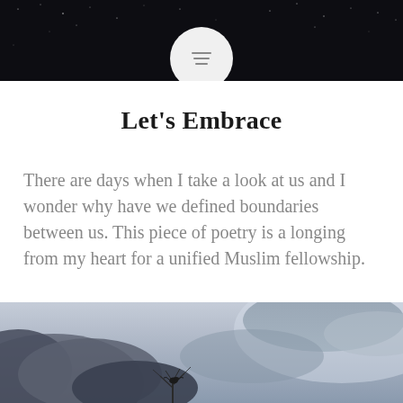Navigation header with starry night background and moon/menu icon
Let’s Embrace
There are days when I take a look at us and I wonder why have we defined boundaries between us. This piece of poetry is a longing from my heart for a unified Muslim fellowship.
[Figure (photo): A misty atmospheric landscape with dark storm clouds and a lone bird perched on bare branches, light blue-grey sky in background]